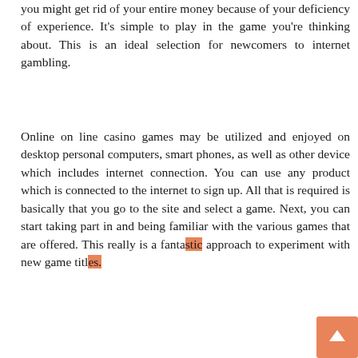you might get rid of your entire money because of your deficiency of experience. It's simple to play in the game you're thinking about. This is an ideal selection for newcomers to internet gambling.
Online on line casino games may be utilized and enjoyed on desktop personal computers, smart phones, as well as other device which includes internet connection. You can use any product which is connected to the internet to sign up. All that is required is basically that you go to the site and select a game. Next, you can start taking part in and being familiar with the various games that are offered. This really is a fantastic approach to experiment with new game titles.